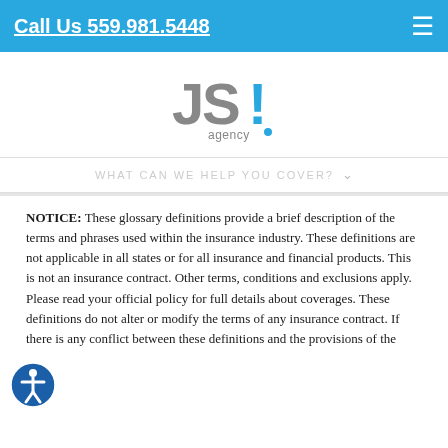Call Us 559.981.5448
[Figure (logo): JSI Agency logo — 'JS!' in large grey letters with a blue exclamation point, 'agency' in smaller text with a blue dot]
WHAT CAN WE HELP YOU COVER?
NOTICE: These glossary definitions provide a brief description of the terms and phrases used within the insurance industry. These definitions are not applicable in all states or for all insurance and financial products. This is not an insurance contract. Other terms, conditions and exclusions apply. Please read your official policy for full details about coverages. These definitions do not alter or modify the terms of any insurance contract. If there is any conflict between these definitions and the provisions of the